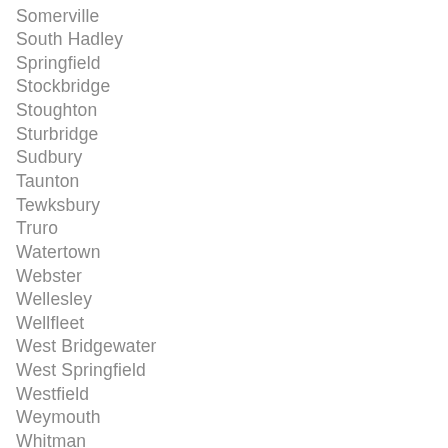Somerville
South Hadley
Springfield
Stockbridge
Stoughton
Sturbridge
Sudbury
Taunton
Tewksbury
Truro
Watertown
Webster
Wellesley
Wellfleet
West Bridgewater
West Springfield
Westfield
Weymouth
Whitman
Williamstown